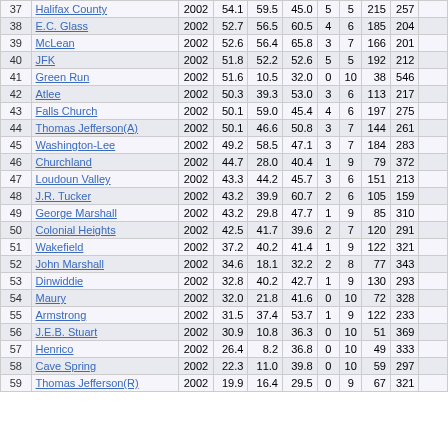| # | School | Year | Col1 | Col2 | Col3 | W | L | Pts | Opp | ... |
| --- | --- | --- | --- | --- | --- | --- | --- | --- | --- | --- |
| 37 | Halifax County | 2002 | 54.1 | 59.5 | 45.0 | 5 | 5 | 215 | 257 |  |
| 38 | E.C. Glass | 2002 | 52.7 | 56.5 | 60.5 | 4 | 6 | 185 | 204 |  |
| 39 | McLean | 2002 | 52.6 | 56.4 | 65.8 | 3 | 7 | 166 | 201 |  |
| 40 | JFK | 2002 | 51.8 | 52.2 | 52.6 | 5 | 5 | 192 | 212 |  |
| 41 | Green Run | 2002 | 51.6 | 10.5 | 32.0 | 0 | 10 | 38 | 546 |  |
| 42 | Atlee | 2002 | 50.3 | 39.3 | 53.0 | 3 | 6 | 113 | 217 |  |
| 43 | Falls Church | 2002 | 50.1 | 59.0 | 45.4 | 4 | 6 | 197 | 275 |  |
| 44 | Thomas Jefferson(A) | 2002 | 50.1 | 46.6 | 50.8 | 3 | 7 | 144 | 261 |  |
| 45 | Washington-Lee | 2002 | 49.2 | 58.5 | 47.1 | 3 | 7 | 184 | 283 |  |
| 46 | Churchland | 2002 | 44.7 | 28.0 | 40.4 | 1 | 9 | 79 | 372 |  |
| 47 | Loudoun Valley | 2002 | 43.3 | 44.2 | 45.7 | 3 | 6 | 151 | 213 |  |
| 48 | J.R. Tucker | 2002 | 43.2 | 39.9 | 60.7 | 2 | 6 | 105 | 159 |  |
| 49 | George Marshall | 2002 | 43.2 | 29.8 | 47.7 | 1 | 9 | 85 | 310 |  |
| 50 | Colonial Heights | 2002 | 42.5 | 41.7 | 39.6 | 2 | 7 | 120 | 291 |  |
| 51 | Wakefield | 2002 | 37.2 | 40.2 | 41.4 | 1 | 9 | 122 | 321 |  |
| 52 | John Marshall | 2002 | 34.6 | 18.1 | 32.2 | 2 | 8 | 77 | 343 |  |
| 53 | Dinwiddie | 2002 | 32.8 | 40.2 | 42.7 | 1 | 9 | 130 | 293 |  |
| 54 | Maury | 2002 | 32.0 | 21.8 | 41.6 | 0 | 10 | 72 | 328 |  |
| 55 | Armstrong | 2002 | 31.5 | 37.4 | 53.7 | 1 | 9 | 122 | 233 |  |
| 56 | J.E.B. Stuart | 2002 | 30.9 | 10.8 | 36.3 | 0 | 10 | 51 | 369 |  |
| 57 | Henrico | 2002 | 26.4 | 8.2 | 36.8 | 0 | 10 | 49 | 333 |  |
| 58 | Cave Spring | 2002 | 22.3 | 11.0 | 39.8 | 0 | 10 | 59 | 297 |  |
| 59 | Thomas Jefferson(R) | 2002 | 19.9 | 16.4 | 29.5 | 0 | 9 | 67 | 321 |  |